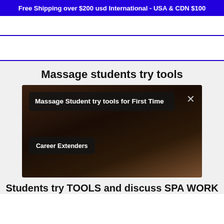Free Shipping over $200 usd International - USA & CDN $100
Massage students try tools
[Figure (screenshot): Video thumbnail with dark overlay showing 'Massage Student try tools for First Time' title card and 'Career Extenders' channel label, with a close (X) button in top right corner.]
Students try TOOLS and discuss SPA WORK